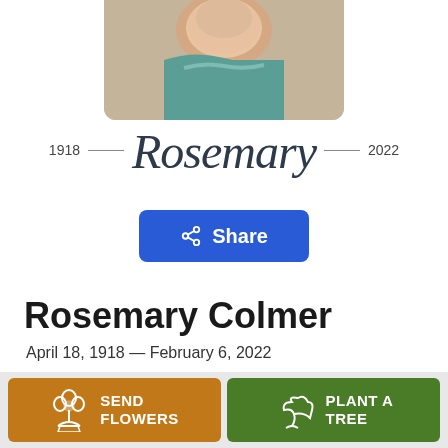[Figure (photo): Portrait photo of Rosemary Colmer, an elderly woman wearing a teal patterned top, cropped at the top of the page]
1918 — Rosemary — 2022
Share
Rosemary Colmer
April 18, 1918 — February 6, 2022
SEND FLOWERS
PLANT A TREE